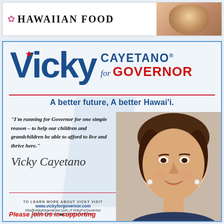[Figure (photo): Top banner advertisement for Hawaiian Food with a hibiscus flower icon and a woman serving food on the right side]
[Figure (infographic): Vicky Cayetano for Governor campaign advertisement. Features large 'Vicky' in blue with red star, 'CAYETANO® for GOVERNOR' text, slogan 'A better future, A better Hawai'i.', a quote about running for Governor, signature of Vicky Cayetano, contact information, and a photo of Vicky Cayetano]
"I'm running for Governor for one simple reason – to help our children and grandchildren be able to afford to live and thrive here."
TO LEARN MORE ABOUT VICKY VISIT www.vickyforgovernor.com Info@vickyforgovernor.com | VickyForGovernor @VickyForGov | VickyForGovernor
Please join us in supporting